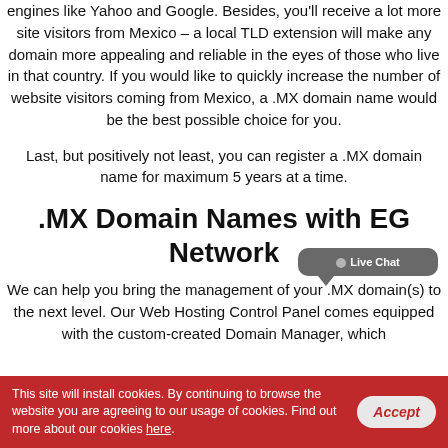engines like Yahoo and Google. Besides, you'll receive a lot more site visitors from Mexico – a local TLD extension will make any domain more appealing and reliable in the eyes of those who live in that country. If you would like to quickly increase the number of website visitors coming from Mexico, a .MX domain name would be the best possible choice for you.
Last, but positively not least, you can register a .MX domain name for maximum 5 years at a time.
.MX Domain Names with EG Network
We can help you bring the management of your .MX domain(s) to the next level. Our Web Hosting Control Panel comes equipped with the custom-created Domain Manager, which
[Figure (screenshot): Live Chat popup bubble overlay in grey]
This site will install cookies. By continuing to browse the website you are agreeing to our usage of cookies. Find out more about our cookies here.